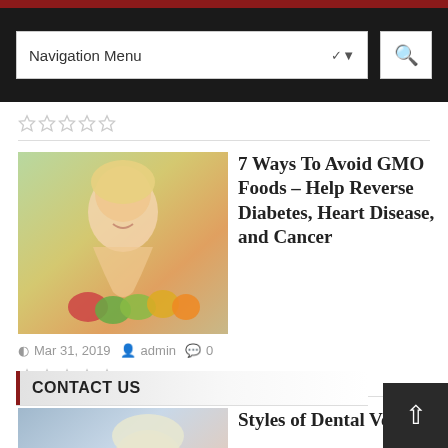Navigation Menu
[Figure (screenshot): Navigation bar with dropdown labeled 'Navigation Menu' and search button on dark background]
★★★★★ (empty stars rating)
[Figure (photo): Woman smiling with fruits and vegetables - GMO article image]
7 Ways To Avoid GMO Foods – Help Reverse Diabetes, Heart Disease, and Cancer
Mar 31, 2019  admin  0
★★★★★ (empty stars rating)
[Figure (photo): Person receiving dental treatment - Dental veneers article image]
Styles of Dental Veneers
Mar 31, 2019  admin  0
★★★★★ (empty stars rating)
CONTACT US